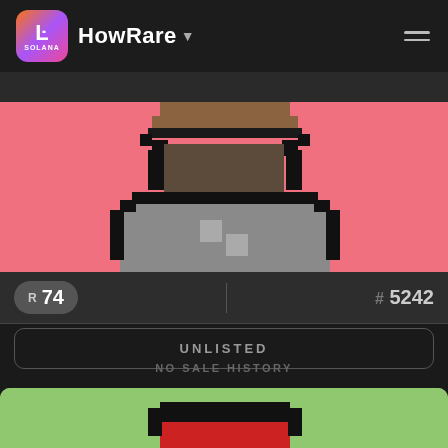HowRare
[Figure (illustration): Pixel art NFT character with pink background, showing upper body with dark clothing and brown hat]
R 74
# 5242
UNLISTED
NO SALE HISTORY
[Figure (illustration): Pixel art NFT character with light green background, showing partial view with red and black hat]